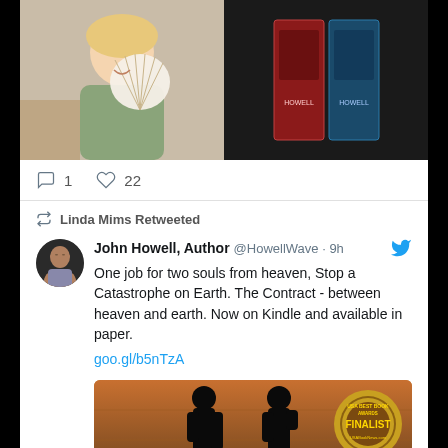[Figure (photo): Two photos side by side: left shows a smiling woman holding a decorative fan, right shows book covers in a dark background]
1  22
Linda Mims Retweeted
John Howell, Author @HowellWave · 9h
One job for two souls from heaven, Stop a Catastrophe on Earth. The Contract - between heaven and earth. Now on Kindle and available in paper.
goo.gl/b5nTzA
[Figure (photo): Book cover for John W. Howell's novel, showing silhouettes of two people, with a USA Best Book Awards Finalist badge in the upper right corner]